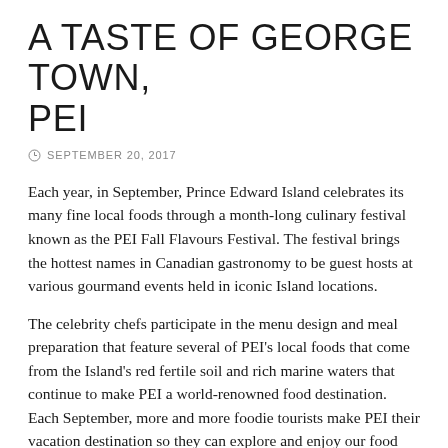A TASTE OF GEORGE TOWN, PEI
SEPTEMBER 20, 2017
Each year, in September, Prince Edward Island celebrates its many fine local foods through a month-long culinary festival known as the PEI Fall Flavours Festival. The festival brings the hottest names in Canadian gastronomy to be guest hosts at various gourmand events held in iconic Island locations.
The celebrity chefs participate in the menu design and meal preparation that feature several of PEI’s local foods that come from the Island’s red fertile soil and rich marine waters that continue to make PEI a world-renowned food destination. Each September, more and more foodie tourists make PEI their vacation destination so they can explore and enjoy our food culture and see for themselves where our food comes from by visiting farming communities and fishing villages across our